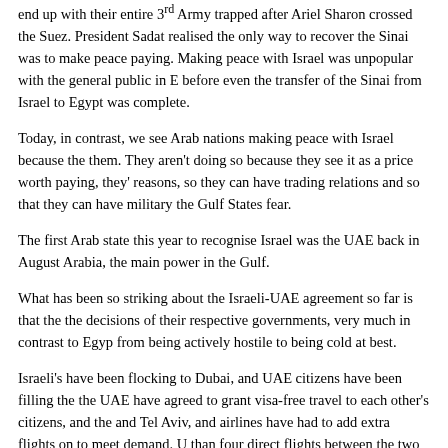end up with their entire 3rd Army trapped after Ariel Sharon crossed the Suez. President Sadat realised the only way to recover the Sinai was to make peace paying. Making peace with Israel was unpopular with the general public in E before even the transfer of the Sinai from Israel to Egypt was complete.
Today, in contrast, we see Arab nations making peace with Israel because the them. They aren't doing so because they see it as a price worth paying, they' reasons, so they can have trading relations and so that they can have military the Gulf States fear.
The first Arab state this year to recognise Israel was the UAE back in August Arabia, the main power in the Gulf.
What has been so striking about the Israeli-UAE agreement so far is that the the decisions of their respective governments, very much in contrast to Egypt from being actively hostile to being cold at best.
Israeli's have been flocking to Dubai, and UAE citizens have been filling the the UAE have agreed to grant visa-free travel to each other's citizens, and the and Tel Aviv, and airlines have had to add extra flights on to meet demand. U than four direct flights between the two cities every day – and this is all durin direct flights at the moment between Tel Aviv and Cairo – the capital of a cou years ago, neither is there any flights between Tel Aviv and Amman, which m